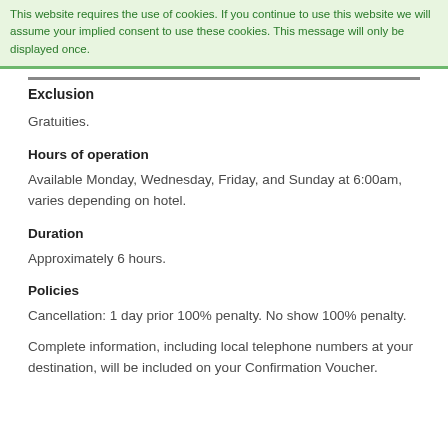This website requires the use of cookies. If you continue to use this website we will assume your implied consent to use these cookies. This message will only be displayed once.
Exclusion
Gratuities.
Hours of operation
Available Monday, Wednesday, Friday, and Sunday at 6:00am, varies depending on hotel.
Duration
Approximately 6 hours.
Policies
Cancellation: 1 day prior 100% penalty. No show 100% penalty.
Complete information, including local telephone numbers at your destination, will be included on your Confirmation Voucher.